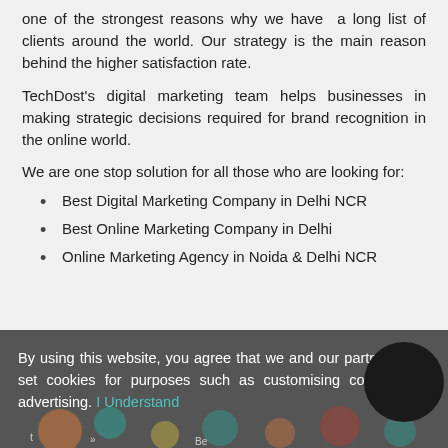one of the strongest reasons why we have a long list of clients around the world. Our strategy is the main reason behind the higher satisfaction rate.
TechDost's digital marketing team helps businesses in making strategic decisions required for brand recognition in the online world.
We are one stop solution for all those who are looking for:
Best Digital Marketing Company in Delhi NCR
Best Online Marketing Company in Delhi
Online Marketing Agency in Noida & Delhi NCR
By using this website, you agree that we and our partners may set cookies for purposes such as customising content and advertising. I Understand